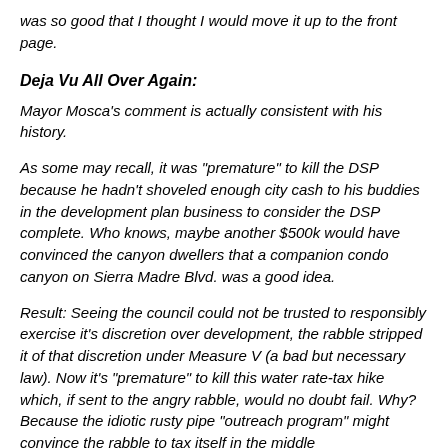was so good that I thought I would move it up to the front page.
Deja Vu All Over Again:
Mayor Mosca's comment is actually consistent with his history.
As some may recall, it was "premature" to kill the DSP because he hadn't shoveled enough city cash to his buddies in the development plan business to consider the DSP complete. Who knows, maybe another $500k would have convinced the canyon dwellers that a companion condo canyon on Sierra Madre Blvd. was a good idea.
Result: Seeing the council could not be trusted to responsibly exercise it's discretion over development, the rabble stripped it of that discretion under Measure V (a bad but necessary law). Now it's "premature" to kill this water rate-tax hike which, if sent to the angry rabble, would no doubt fail. Why? Because the idiotic rusty pipe "outreach program" might convince the rabble to tax itself in the middle